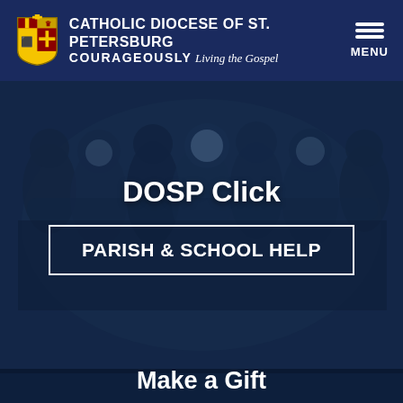CATHOLIC DIOCESE OF ST. PETERSBURG COURAGEOUSLY Living the Gospel MENU
DOSP Click
PARISH & SCHOOL HELP
[Figure (photo): Group of young people hugging in a circle outdoors, with a dark blue overlay. Background for the DOSP Click section.]
Make a Gift